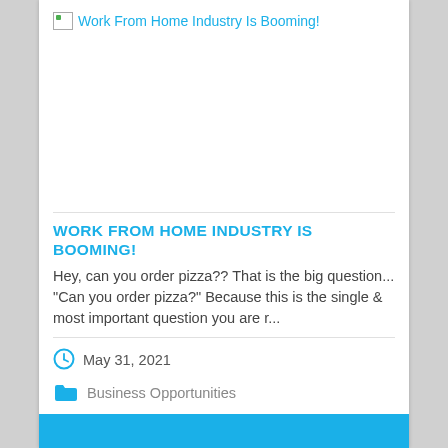[Figure (other): Broken image placeholder with link text 'Work From Home Industry Is Booming!']
WORK FROM HOME INDUSTRY IS BOOMING!
Hey, can you order pizza?? That is the big question... "Can you order pizza?" Because this is the single & most important question you are r...
May 31, 2021
Business Opportunities
Free